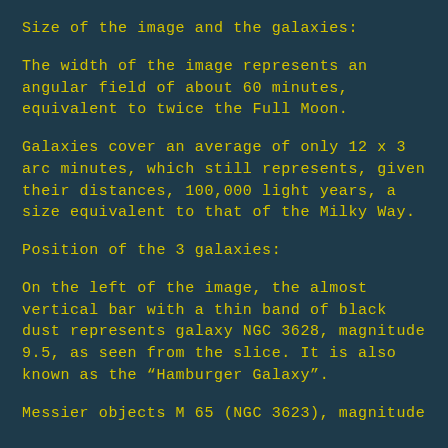Size of the image and the galaxies:
The width of the image represents an angular field of about 60 minutes, equivalent to twice the Full Moon.
Galaxies cover an average of only 12 x 3 arc minutes, which still represents, given their distances, 100,000 light years, a size equivalent to that of the Milky Way.
Position of the 3 galaxies:
On the left of the image, the almost vertical bar with a thin band of black dust represents galaxy NGC 3628, magnitude 9.5, as seen from the slice. It is also known as the “Hamburger Galaxy”.
Messier objects M 65 (NGC 3623), magnitude